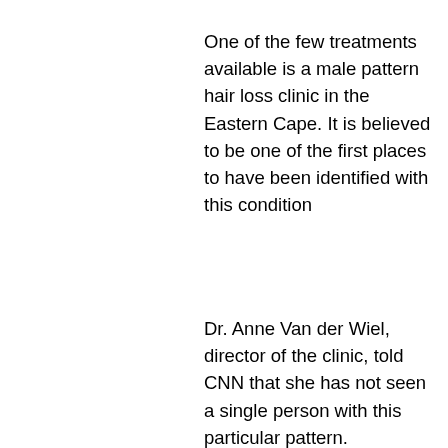One of the few treatments available is a male pattern hair loss clinic in the Eastern Cape. It is believed to be one of the first places to have been identified with this condition
Dr. Anne Van der Wiel, director of the clinic, told CNN that she has not seen a single person with this particular pattern.
'What I've seen is a few people with their own hair loss and a few older men that had very thin moustaches and very thin legs,' she explained.
'Most of the times it's just thin whisker hairs, so that's what they are going to be doing the
Related Article:
https://www.windsurferlt1.com/profile/othatafe l1983/profile